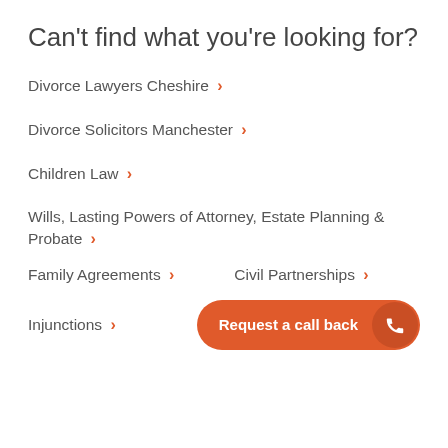Can't find what you're looking for?
Divorce Lawyers Cheshire ›
Divorce Solicitors Manchester ›
Children Law ›
Wills, Lasting Powers of Attorney, Estate Planning & Probate ›
Family Agreements ›
Civil Partnerships ›
Injunctions ›
Request a call back